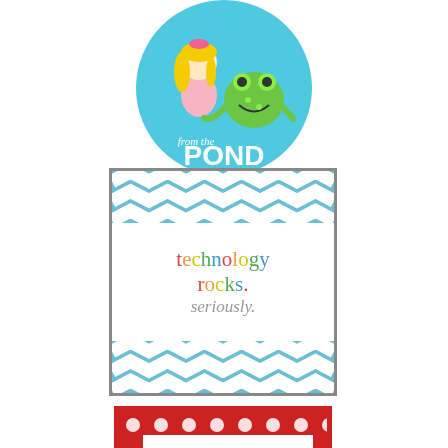[Figure (logo): From the Pond logo: circular blue badge with cartoon girl and frog, text 'from the POND']
[Figure (logo): Technology Rocks. Seriously. logo: square with chevron pattern border, multicolor text]
[Figure (logo): Dandelions and [dragonfly] logo: red polka-dot border with white center, serif text]